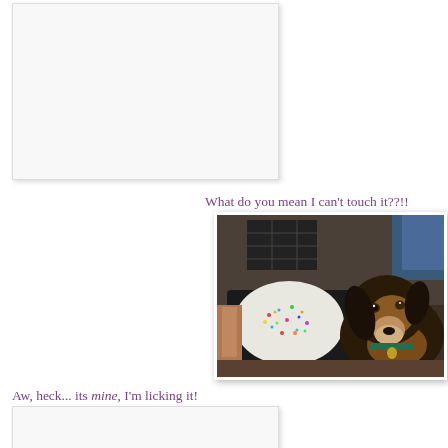[Figure (photo): Photo placeholder box (top left) - white/light gray rectangle with border and shadow]
What do you mean I can't touch it??!!
[Figure (photo): Photo of a small black and tan dog (dachshund mix) looking eagerly at a round white cake covered in colorful sprinkles, held on a black tray by a person's hand]
Aw, heck... its mine, I'm licking it!
[Figure (photo): Photo placeholder box (bottom left) - white/light gray rectangle with border and shadow]